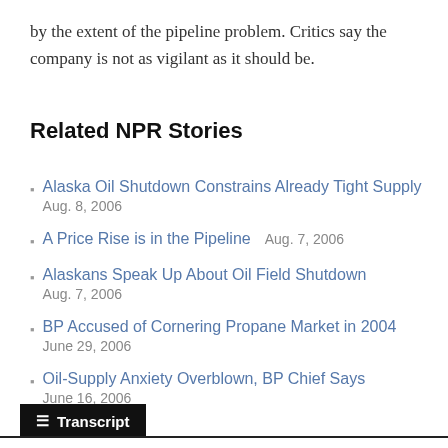by the extent of the pipeline problem. Critics say the company is not as vigilant as it should be.
Related NPR Stories
Alaska Oil Shutdown Constrains Already Tight Supply  Aug. 8, 2006
A Price Rise is in the Pipeline  Aug. 7, 2006
Alaskans Speak Up About Oil Field Shutdown  Aug. 7, 2006
BP Accused of Cornering Propane Market in 2004  June 29, 2006
Oil-Supply Anxiety Overblown, BP Chief Says  June 16, 2006
Transcript